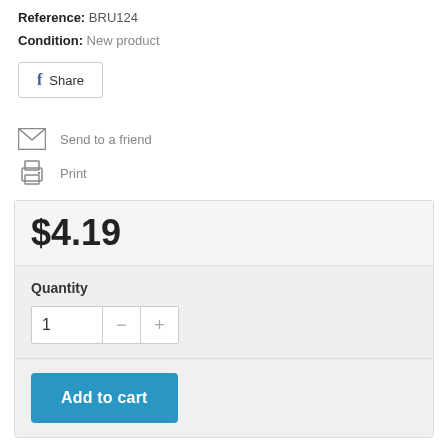Reference: BRU124
Condition: New product
f Share
Send to a friend
Print
$4.19
Quantity
1
Add to cart